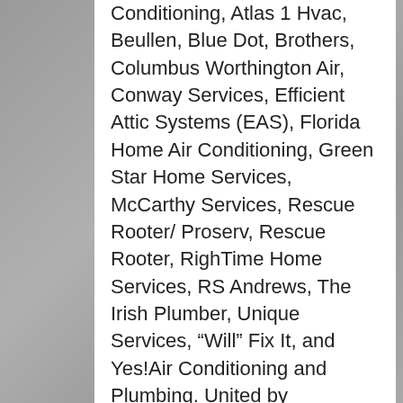Conditioning, Atlas 1 Hvac, Beullen, Blue Dot, Brothers, Columbus Worthington Air, Conway Services, Efficient Attic Systems (EAS), Florida Home Air Conditioning, Green Star Home Services, McCarthy Services, Rescue Rooter/Proserv, Rescue Rooter, RighTime Home Services, RS Andrews, The Irish Plumber, Unique Services, "Will" Fix It, and Yes!Air Conditioning and Plumbing. United by Exceptional Service®, the ARS / Rescue Rooter Network serves both residential and light commercial customers by providing heating, cooling, indoor air quality, plumbing, drain cleaning, sewer line, radiant barrier, insulation and ventilation services. Each location has a